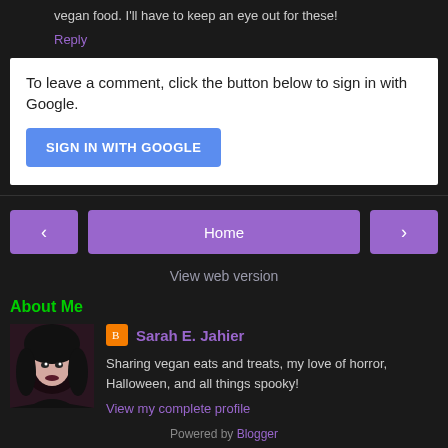vegan food. I'll have to keep an eye out for these!
Reply
To leave a comment, click the button below to sign in with Google.
SIGN IN WITH GOOGLE
‹
Home
›
View web version
About Me
[Figure (photo): Profile photo of Sarah E. Jahier, a woman with dark hair and pale skin]
Sarah E. Jahier
Sharing vegan eats and treats, my love of horror, Halloween, and all things spooky!
View my complete profile
Powered by Blogger